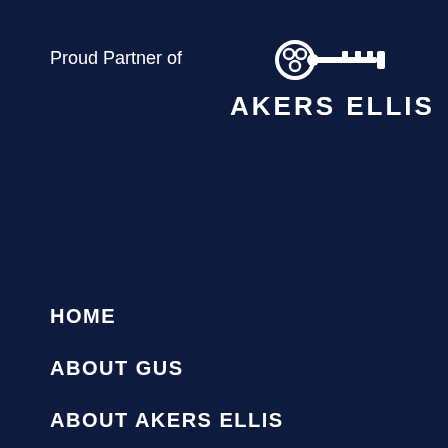Proud Partner of
[Figure (logo): Akers Ellis logo: a key icon above the text AKERS ELLIS in bold white letters]
HOME
ABOUT GUS
ABOUT AKERS ELLIS
PROPERTIES